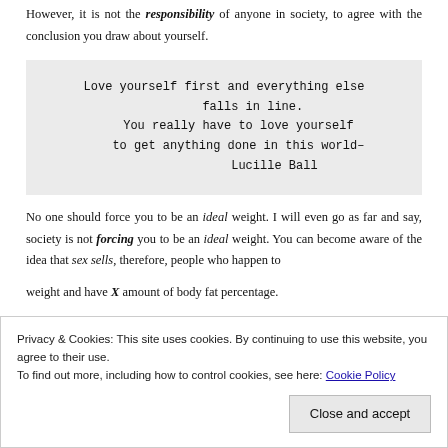However, it is not the responsibility of anyone in society, to agree with the conclusion you draw about yourself.
Love yourself first and everything else falls in line.
You really have to love yourself
to get anything done in this world–
Lucille Ball
No one should force you to be an ideal weight. I will even go as far and say, society is not forcing you to be an ideal weight. You can become aware of the idea that sex sells, therefore, people who happen to
weight and have X amount of body fat percentage.
Privacy & Cookies: This site uses cookies. By continuing to use this website, you agree to their use.
To find out more, including how to control cookies, see here: Cookie Policy
Close and accept